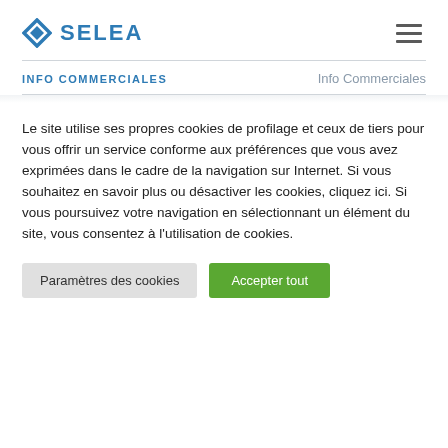[Figure (logo): SELEA logo with blue diamond shape and blue bold text SELEA]
INFO COMMERCIALES | Info Commerciales
Le site utilise ses propres cookies de profilage et ceux de tiers pour vous offrir un service conforme aux préférences que vous avez exprimées dans le cadre de la navigation sur Internet. Si vous souhaitez en savoir plus ou désactiver les cookies, cliquez ici. Si vous poursuivez votre navigation en sélectionnant un élément du site, vous consentez à l'utilisation de cookies.
Paramètres des cookies
Accepter tout